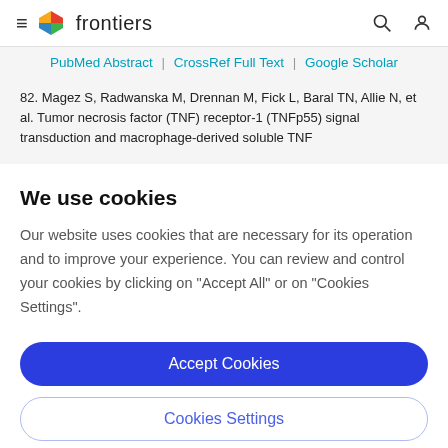frontiers
PubMed Abstract | CrossRef Full Text | Google Scholar
82. Magez S, Radwanska M, Drennan M, Fick L, Baral TN, Allie N, et al. Tumor necrosis factor (TNF) receptor-1 (TNFp55) signal transduction and macrophage-derived soluble TNF
We use cookies
Our website uses cookies that are necessary for its operation and to improve your experience. You can review and control your cookies by clicking on "Accept All" or on "Cookies Settings".
Accept Cookies
Cookies Settings